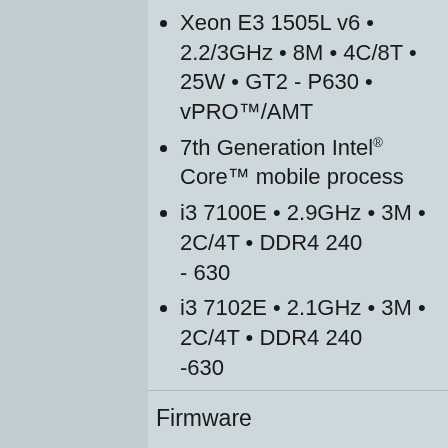Xeon E3 1505L v6 • 2.2/3GHz • 8M • 4C/8T • 25W • GT2 - P630 • vPRO™/AMT
7th Generation Intel® Core™ mobile process
i3 7100E • 2.9GHz • 3M • 2C/4T • DDR4 240 - 630
i3 7102E • 2.1GHz • 3M • 2C/4T • DDR4 240 -630
Firmware
Phoenix® UEFI (Unified Extensible Firmware CSM*
Fully customizable by EKF
Secure Boot and Measured Boot supported - demands as specified by Microsoft®